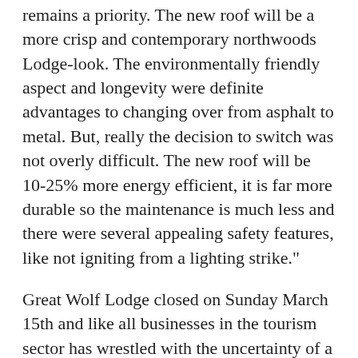remains a priority. The new roof will be a more crisp and contemporary northwoods Lodge-look. The environmentally friendly aspect and longevity were definite advantages to changing over from asphalt to metal. But, really the decision to switch was not overly difficult. The new roof will be 10-25% more energy efficient, it is far more durable so the maintenance is much less and there were several appealing safety features, like not igniting from a lighting strike."
Great Wolf Lodge closed on Sunday March 15th and like all businesses in the tourism sector has wrestled with the uncertainty of a re-opening date. Waterparks are listed for Phase 3 provincial opening. August 27th is the current re-opening date and the Lodge plans to operate at a significantly reduced occupancy. Mr. Simmonds adds, ‘our standards for safe play have always been high. These times have given us an opportunity to raise our level of care even higher. Our enhanced approach to staying safe and healthy allows